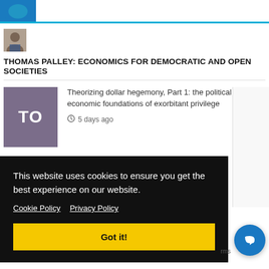[Figure (logo): Blue rounded logo shape at top left]
[Figure (photo): Small headshot photo of Thomas Palley]
THOMAS PALLEY: ECONOMICS FOR DEMOCRATIC AND OPEN SOCIETIES
[Figure (illustration): Purple/gray square thumbnail with letters TO]
Theorizing dollar hegemony, Part 1: the political economic foundations of exorbitant privilege
5 days ago
This website uses cookies to ensure you get the best experience on our website. Cookie Policy  Privacy Policy
Got it!